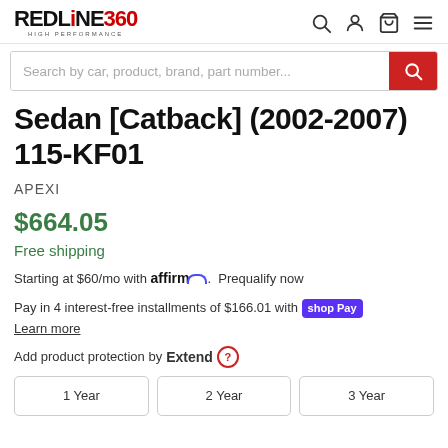REDLINE360 HIGH PERFORMANCE
Search by car, product, brand, part number...
Sedan [Catback] (2002-2007) 115-KF01
APEXI
$664.05
Free shipping
Starting at $60/mo with affirm. Prequalify now
Pay in 4 interest-free installments of $166.01 with Shop Pay
Learn more
Add product protection by Extend ?
1 Year
2 Year
3 Year